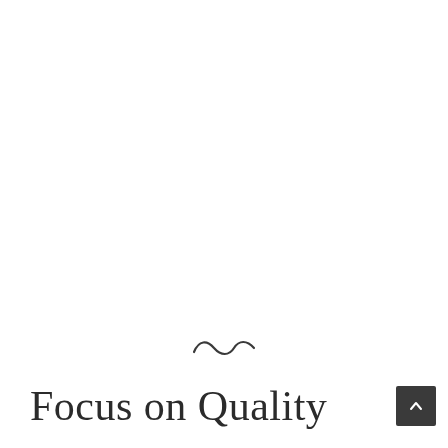[Figure (other): Decorative tilde/wave symbol (~) centered on the page]
Focus on Quality